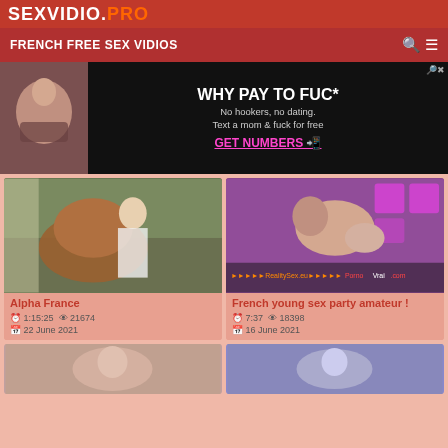SEXVIDIO.PRO
FRENCH FREE SEX VIDIOS
[Figure (photo): Advertisement banner with adult content. Text: WHY PAY TO FUCK - No hookers, no dating. Text a mom & fuck for free - GET NUMBERS]
[Figure (photo): Video thumbnail: woman on horse outdoors]
Alpha France
1:15:25   21674   22 June 2021
[Figure (photo): Video thumbnail: couple in bedroom, RealitySex.eu / PornoVrai.com watermark]
French young sex party amateur !
7:37   18398   16 June 2021
[Figure (photo): Two partial video thumbnails at bottom of page]